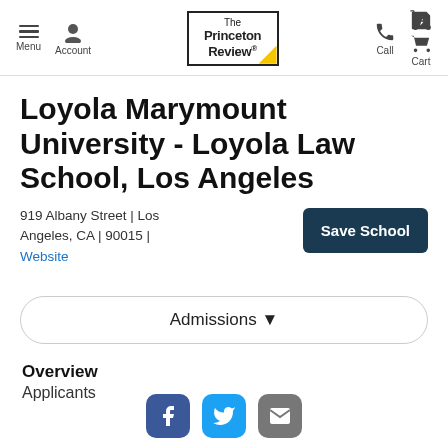Menu | Account | The Princeton Review | Call | Cart
Loyola Marymount University - Loyola Law School, Los Angeles
919 Albany Street | Los Angeles, CA | 90015 | Website
Save School
Admissions
Overview
Applicants